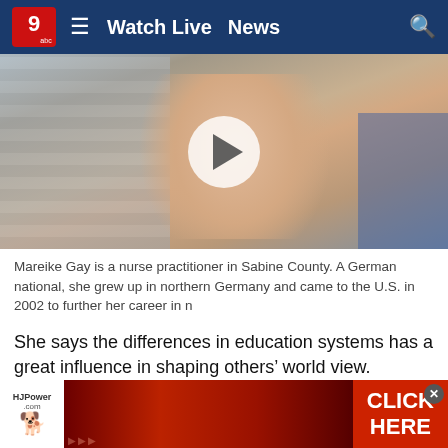Watch Live  News
[Figure (photo): Video thumbnail showing a woman with glasses (Mareike Gay) with a play button overlay. She is a nurse practitioner in Sabine County.]
Mareike Gay is a nurse practitioner in Sabine County. A German national, she grew up in northern Germany and came to the U.S. in 2002 to further her career in n
She says the differences in education systems has a great influence in shaping others' world view.
“In Europe, we’re exposed to the whole of Europe, not just Germany. Americans don’t branch out in their thinking of what’s                                                    ny other t                                                      think
[Figure (screenshot): Advertisement banner for HJPower.com showing red tractors with CLICK HERE call to action button and a close button.]